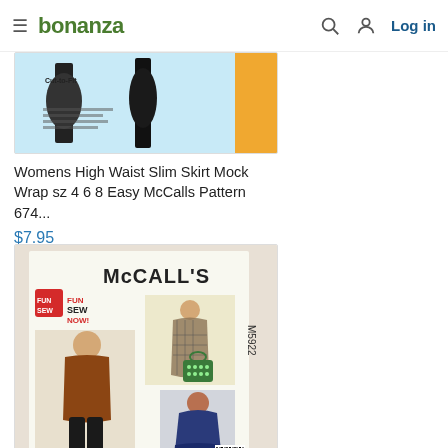bonanza — Log in
[Figure (photo): Partially visible product image for Womens High Waist Slim Skirt sewing pattern with blue background]
Womens High Waist Slim Skirt Mock Wrap sz 4 6 8 Easy McCalls Pattern 674...
$7.95
[Figure (photo): McCall's FunSewNow M5922 sewing pattern showing girls vest, top, dress and leggings]
Uncut Size 10 ½ - 16 ½ Girls Vest Top Dress Leggings McCalls 5922 Patter...